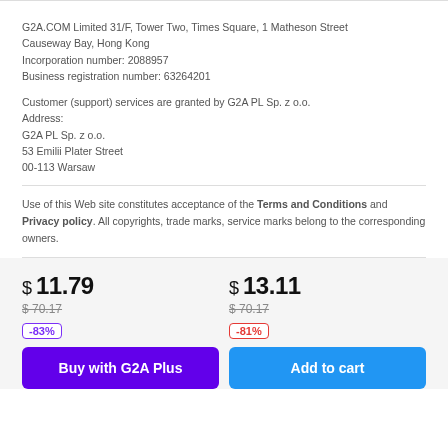G2A.COM Limited 31/F, Tower Two, Times Square, 1 Matheson Street Causeway Bay, Hong Kong Incorporation number: 2088957 Business registration number: 63264201
Customer (support) services are granted by G2A PL Sp. z o.o. Address: G2A PL Sp. z o.o. 53 Emilii Plater Street 00-113 Warsaw
Use of this Web site constitutes acceptance of the Terms and Conditions and Privacy policy. All copyrights, trade marks, service marks belong to the corresponding owners.
$ 11.79
$ 13.11
$70.17 (strikethrough)
$70.17 (strikethrough)
-83%
-81%
Buy with G2A Plus
Add to cart